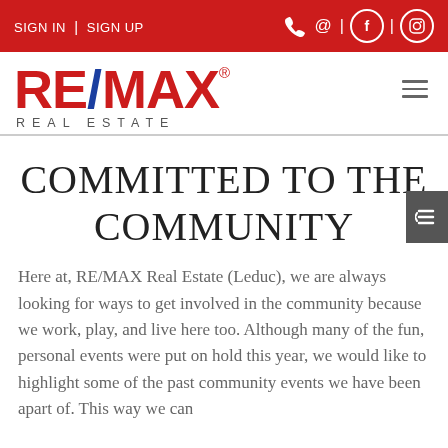SIGN IN | SIGN UP
[Figure (logo): RE/MAX Real Estate logo with red RE, blue slash, red MAX text and REAL ESTATE subtitle]
COMMITTED TO THE COMMUNITY
Here at, RE/MAX Real Estate (Leduc), we are always looking for ways to get involved in the community because we work, play, and live here too. Although many of the fun, personal events were put on hold this year, we would like to highlight some of the past community events we have been apart of. This way we can